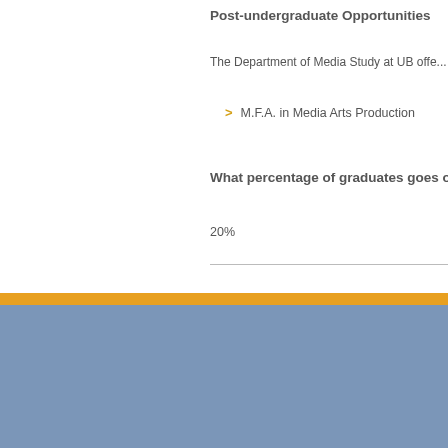Post-undergraduate Opportunities
The Department of Media Study at UB offe...
M.F.A. in Media Arts Production
What percentage of graduates goes on...
20%
University at Buffalo The State University of New York | Related Resources: Academic Calendar, HUB Student C..., Office of the Re..., Undergraduate...